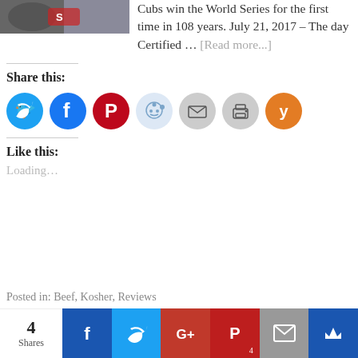[Figure (photo): Partial photo of Cubs merchandise/items at top left]
Cubs win the World Series for the first time in 108 years. July 21, 2017 – The day Certified ... [Read more...]
Share this:
[Figure (infographic): Row of social share icon buttons: Twitter (blue), Facebook (blue), Pinterest (red), Reddit (light blue), Email (grey), Print (grey), Yummly (orange)]
Like this:
Loading...
Posted in: Beef, Kosher, Reviews
[Figure (infographic): Social share bar at bottom: 4 Shares, Facebook, Twitter, Google+, Pinterest (4), Email, Crown]